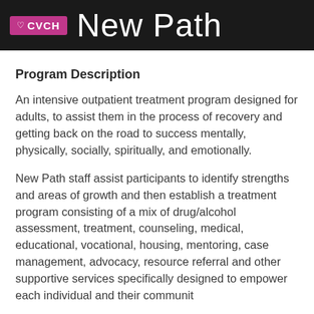[Figure (logo): CVCH New Path header banner with dark background, pink CVCH logo badge and large white 'New Path' text]
Program Description
An intensive outpatient treatment program designed for adults, to assist them in the process of recovery and getting back on the road to success mentally, physically, socially, spiritually, and emotionally.
New Path staff assist participants to identify strengths and areas of growth and then establish a treatment program consisting of a mix of drug/alcohol assessment, treatment, counseling, medical, educational, vocational, housing, mentoring, case management, advocacy, resource referral and other supportive services specifically designed to empower each individual and their community.